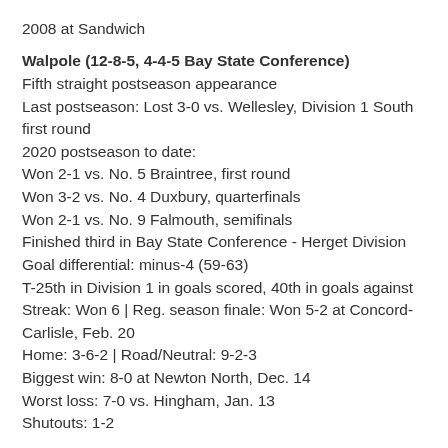2008 at Sandwich
Walpole (12-8-5, 4-4-5 Bay State Conference)
Fifth straight postseason appearance
Last postseason: Lost 3-0 vs. Wellesley, Division 1 South first round
2020 postseason to date:
Won 2-1 vs. No. 5 Braintree, first round
Won 3-2 vs. No. 4 Duxbury, quarterfinals
Won 2-1 vs. No. 9 Falmouth, semifinals
Finished third in Bay State Conference - Herget Division
Goal differential: minus-4 (59-63)
T-25th in Division 1 in goals scored, 40th in goals against
Streak: Won 6 | Reg. season finale: Won 5-2 at Concord-Carlisle, Feb. 20
Home: 3-6-2 | Road/Neutral: 9-2-3
Biggest win: 8-0 at Newton North, Dec. 14
Worst loss: 7-0 vs. Hingham, Jan. 13
Shutouts: 1-2